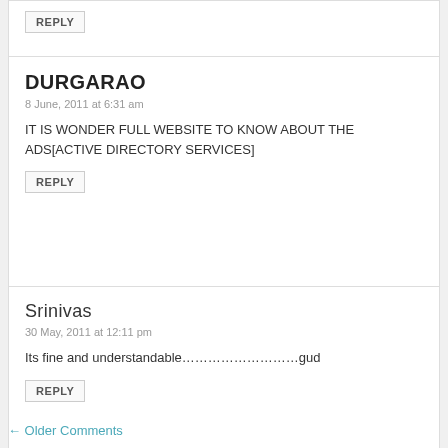REPLY
DURGARAO
8 June, 2011 at 6:31 am
IT IS WONDER FULL WEBSITE TO KNOW ABOUT THE ADS[ACTIVE DIRECTORY SERVICES]
REPLY
Srinivas
30 May, 2011 at 12:11 pm
Its fine and understandable………………………gud
REPLY
← Older Comments